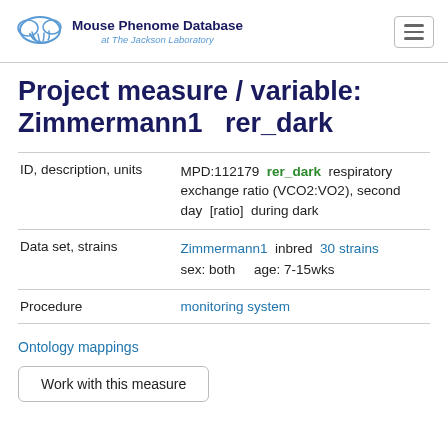Mouse Phenome Database at The Jackson Laboratory
Project measure / variable: Zimmermann1   rer_dark
| Field | Value |
| --- | --- |
| ID, description, units | MPD:112179  rer_dark  respiratory exchange ratio (VCO2:VO2), second day  [ratio]  during dark |
| Data set, strains | Zimmermann1  inbred  30 strains  sex: both    age: 7-15wks |
| Procedure | monitoring system |
Ontology mappings
Work with this measure